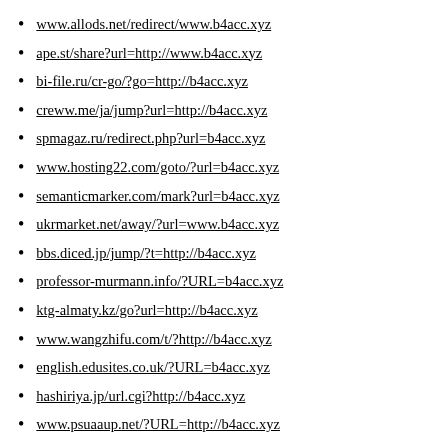www.allods.net/redirect/www.b4acc.xyz
ape.st/share?url=http://www.b4acc.xyz
bi-file.ru/cr-go/?go=http://b4acc.xyz
creww.me/ja/jump?url=http://b4acc.xyz
spmagaz.ru/redirect.php?url=b4acc.xyz
www.hosting22.com/goto/?url=b4acc.xyz
semanticmarker.com/mark?url=b4acc.xyz
ukrmarket.net/away/?url=www.b4acc.xyz
bbs.diced.jp/jump/?t=http://b4acc.xyz
professor-murmann.info/?URL=b4acc.xyz
ktg-almaty.kz/go?url=http://b4acc.xyz
www.wangzhifu.com/t/?http://b4acc.xyz
english.edusites.co.uk/?URL=b4acc.xyz
hashiriya.jp/url.cgi?http://b4acc.xyz
www.psuaaup.net/?URL=http://b4acc.xyz
outlink.net4u.org/?q=http://b4acc.xyz
zippyapp.com/redir?u=http://b4acc.xyz
archive.paulrucker.com/?URL=b4acc.xyz
m.adlf.jp/jump.php?l=http://b4acc.xyz